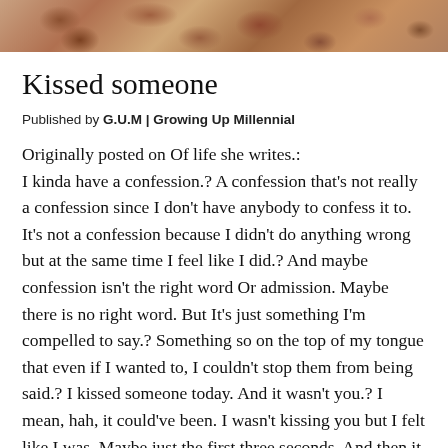[Figure (photo): Photograph strip at top of page showing close-up of food items in warm brown and reddish tones]
Kissed someone
Published by G.U.M | Growing Up Millennial
Originally posted on Of life she writes.: I kinda have a confession.? A confession that's not really a confession since I don't have anybody to confess it to. It's not a confession because I didn't do anything wrong but at the same time I feel like I did.? And maybe confession isn't the right word Or admission. Maybe there is no right word. But It's just something I'm compelled to say.? Something so on the top of my tongue that even if I wanted to, I couldn't stop them from being said.? I kissed someone today. And it wasn't you.? I mean, hah, it could've been. I wasn't kissing you but I felt like I was. Maybe just the first three seconds. And then it hit me.? Like,? Kind of like a bucket of water, but It's with a ton but you could ley you still feel the